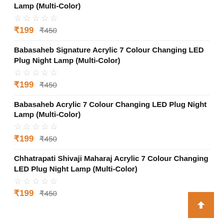Lamp (Multi-Color)
★★★★★ (0 ratings)
₹199 ₹450
Babasaheb Signature Acrylic 7 Colour Changing LED Plug Night Lamp (Multi-Color)
★★★★★ (0 ratings)
₹199 ₹450
Babasaheb Acrylic 7 Colour Changing LED Plug Night Lamp (Multi-Color)
★★★★★ (0 ratings)
₹199 ₹450
Chhatrapati Shivaji Maharaj Acrylic 7 Colour Changing LED Plug Night Lamp (Multi-Color)
★★★★★ (0 ratings)
₹199 ₹450